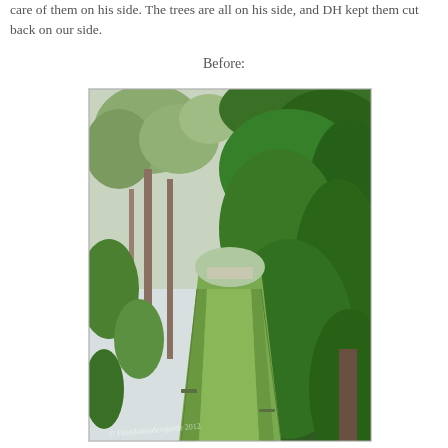care of them on his side. The trees are all on his side, and DH kept them cut back on our side.
Before:
[Figure (photo): A garden path or driveway lined with lush green vegetation and overhanging trees on both sides, photographed before trimming. The path has two grassy tracks leading into the distance. Dense green ivy and climbing plants cover a fence or wall on the right side. Several tall trees are visible on the left. A watermark reads '© Floridainsidersguide 2012' or similar at the bottom.]